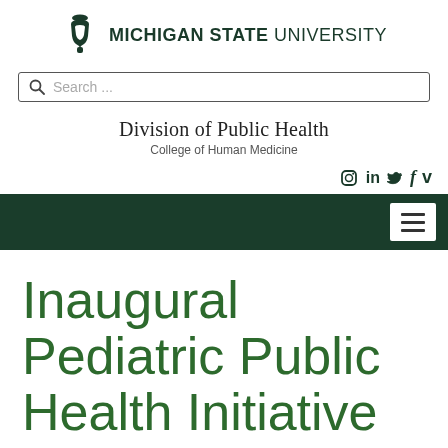[Figure (logo): Michigan State University logo with Spartan helmet and wordmark: MICHIGAN STATE UNIVERSITY]
[Figure (screenshot): Search bar with magnifying glass icon and placeholder text 'Search ...']
Division of Public Health
College of Human Medicine
[Figure (other): Social media icons: Instagram, LinkedIn, Twitter, Facebook, Vimeo]
[Figure (screenshot): Dark green navigation bar with hamburger menu button]
Inaugural Pediatric Public Health Initiative